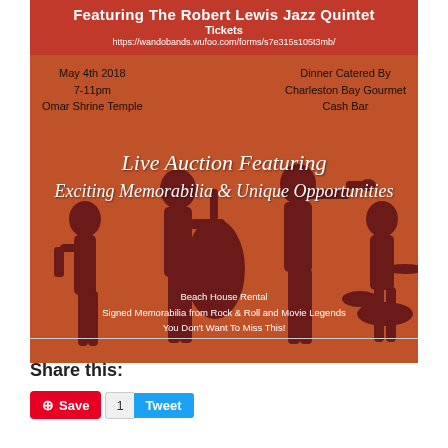[Figure (illustration): Event poster for a jazz fundraiser featuring red header with event title, tickets info, URL, and an orange section with musician silhouettes playing instruments, overlaid with text about a live auction, event details, and auction items.]
Share this:
Save  1  Tweet